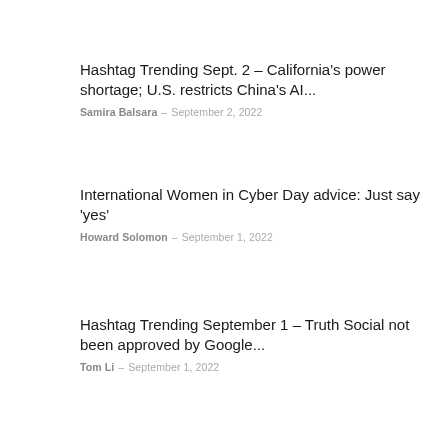Hashtag Trending Sept. 2 – California's power shortage; U.S. restricts China's AI...
Samira Balsara – September 2, 2022
International Women in Cyber Day advice: Just say 'yes'
Howard Solomon – September 1, 2022
Hashtag Trending September 1 – Truth Social not been approved by Google...
Tom Li – September 1, 2022